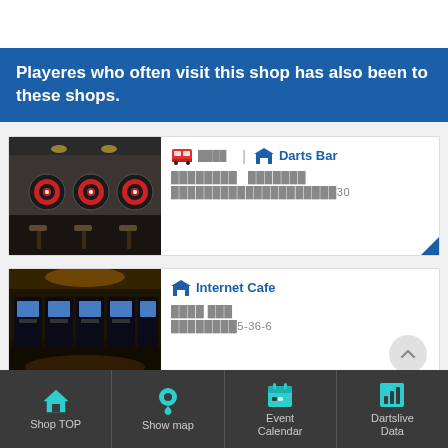Playeres who often visit this shop has also been to these shops.
[Figure (photo): Interior of a darts bar showing dart boards and bar stools along a wall]
🚌 ████ | 🏪 Darts Bar
████████  ███████
████████████████████30
[Figure (photo): Interior of an internet cafe showing arcade/gaming machines in a dark room]
🏪 Internet Cafe
████ ███
████████5-36-6
Shop TOP  Show map  Event Calendar  Dartslive Data